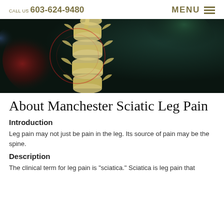CALL US 603-624-9480   MENU
[Figure (illustration): 3D medical illustration of the lumbar spine vertebrae against a dark background with red radial glow on the left side, showing bone structure detail.]
About Manchester Sciatic Leg Pain
Introduction
Leg pain may not just be pain in the leg. Its source of pain may be the spine.
Description
The clinical term for leg pain is "sciatica." Sciatica is leg pain that